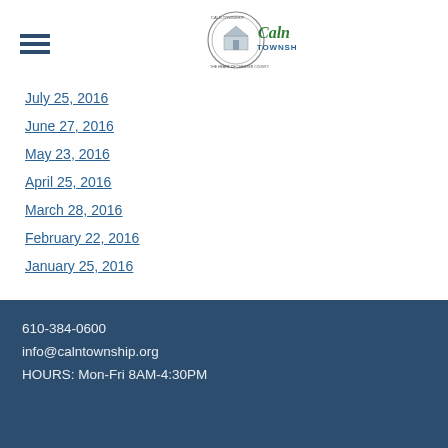[Figure (logo): Caln Township logo with circular seal and 'Caln TOWNSHIP' text in green and teal]
July 25, 2016
June 27, 2016
May 23, 2016
April 25, 2016
March 28, 2016
February 22, 2016
January 25, 2016
610-384-0600
info@calntownship.org
HOURS: Mon-Fri 8AM-4:30PM